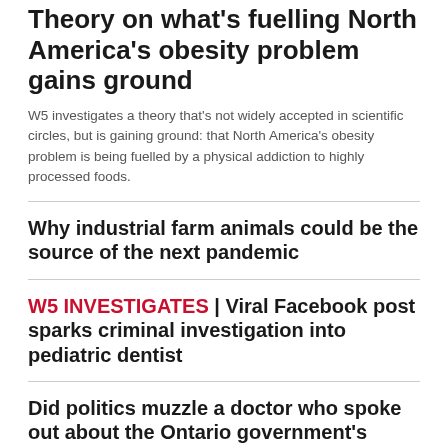Theory on what's fuelling North America's obesity problem gains ground
W5 investigates a theory that's not widely accepted in scientific circles, but is gaining ground: that North America's obesity problem is being fuelled by a physical addiction to highly processed foods.
Why industrial farm animals could be the source of the next pandemic
W5 INVESTIGATES | Viral Facebook post sparks criminal investigation into pediatric dentist
Did politics muzzle a doctor who spoke out about the Ontario government's COVID-19 response?